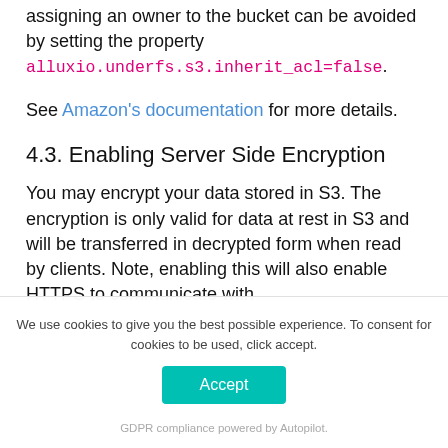assigning an owner to the bucket can be avoided by setting the property alluxio.underfs.s3.inherit_acl=false.
See Amazon's documentation for more details.
4.3. Enabling Server Side Encryption
You may encrypt your data stored in S3. The encryption is only valid for data at rest in S3 and will be transferred in decrypted form when read by clients. Note, enabling this will also enable HTTPS to communicate with...
We use cookies to give you the best possible experience. To consent for cookies to be used, click accept.
Accept
GDPR compliance powered by Autopilot.